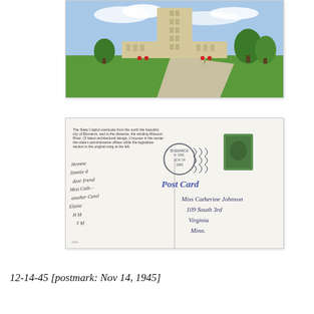[Figure (photo): Front of a vintage postcard showing the North Dakota State Capitol building in Bismarck, a tall Art Deco skyscraper tower with flanking wings, set on green lawns with a curved driveway, blue sky with clouds and trees in background.]
[Figure (photo): Back of a vintage postcard dated Nov 14, 1945. Left side has handwritten message in cursive. Right side shows 'POST CARD' printed in blue, a circular postmark stamp reading Bismarck ND Nov 14 1945, a green US postage stamp, and a handwritten address to Miss Catherine Johnson, 109 South 3rd, Virginia, Minn.]
12-14-45 [postmark: Nov 14, 1945]